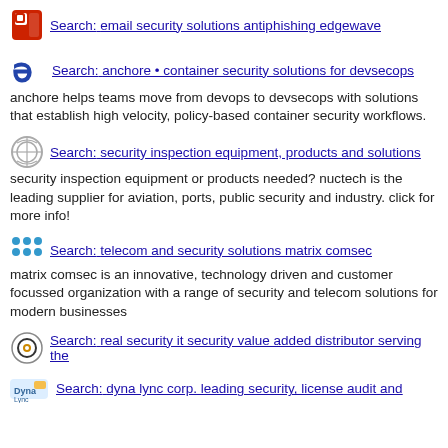Search: email security solutions antiphishing edgewave
Search: anchore • container security solutions for devsecops
anchore helps teams move from devops to devsecops with solutions that establish high velocity, policy-based container security workflows.
Search: security inspection equipment, products and solutions
security inspection equipment or products needed? nuctech is the leading supplier for aviation, ports, public security and industry. click for more info!
Search: telecom and security solutions matrix comsec
matrix comsec is an innovative, technology driven and customer focussed organization with a range of security and telecom solutions for modern businesses
Search: real security it security value added distributor serving the
Search: dyna lync corp. leading security, license audit and